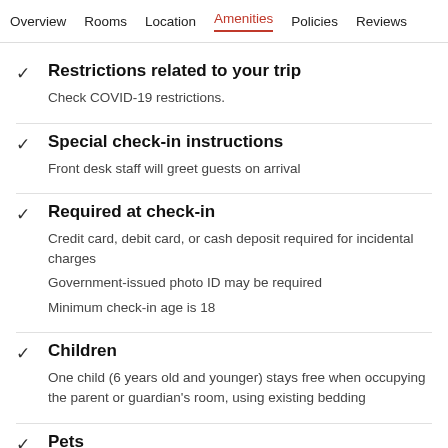Overview  Rooms  Location  Amenities  Policies  Reviews
Restrictions related to your trip
Check COVID-19 restrictions.
Special check-in instructions
Front desk staff will greet guests on arrival
Required at check-in
Credit card, debit card, or cash deposit required for incidental charges
Government-issued photo ID may be required
Minimum check-in age is 18
Children
One child (6 years old and younger) stays free when occupying the parent or guardian's room, using existing bedding
Pets